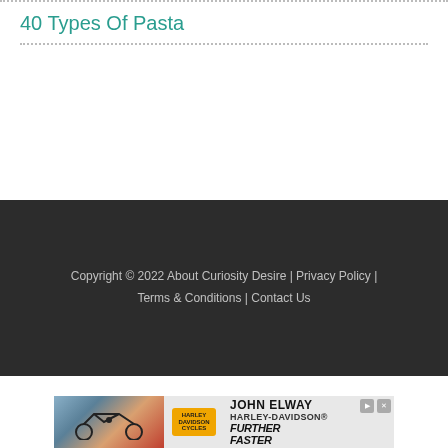40 Types Of Pasta
Copyright © 2022 About Curiosity Desire | Privacy Policy | Terms & Conditions | Contact Us
[Figure (photo): Harley-Davidson advertisement banner featuring John Elway Harley-Davidson with 'Further Faster' tagline]